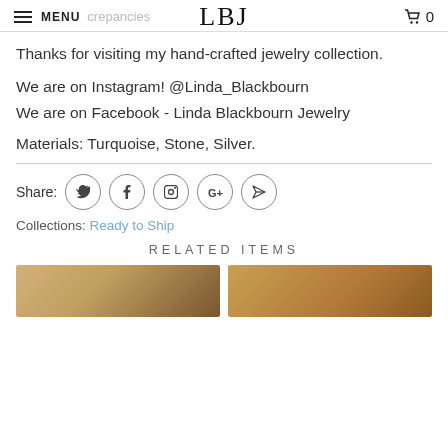MENU | LBJ | 0
Thanks for visiting my hand-crafted jewelry collection.
We are on Instagram! @Linda_Blackbourn
We are on Facebook - Linda Blackbourn Jewelry
Materials: Turquoise, Stone, Silver.
Share: [Twitter] [Facebook] [Pinterest] [Google+] [Send]
Collections: Ready to Ship
RELATED ITEMS
[Figure (photo): Two related jewelry item product photos side by side]